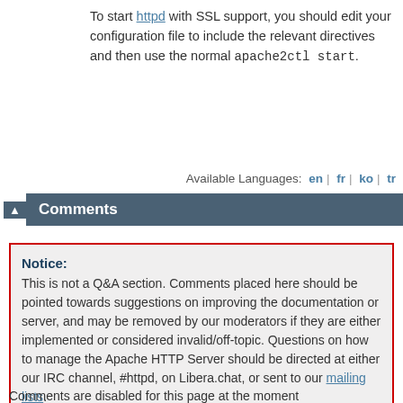To start httpd with SSL support, you should edit your configuration file to include the relevant directives and then use the normal apache2ctl start.
Available Languages: en | fr | ko | tr
Comments
Notice: This is not a Q&A section. Comments placed here should be pointed towards suggestions on improving the documentation or server, and may be removed by our moderators if they are either implemented or considered invalid/off-topic. Questions on how to manage the Apache HTTP Server should be directed at either our IRC channel, #httpd, on Libera.chat, or sent to our mailing lists.
Comments are disabled for this page at the moment